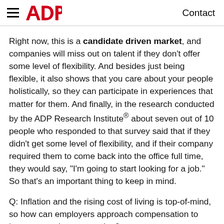ADP — Contact
Right now, this is a candidate driven market, and companies will miss out on talent if they don't offer some level of flexibility. And besides just being flexible, it also shows that you care about your people holistically, so they can participate in experiences that matter for them. And finally, in the research conducted by the ADP Research Institute® about seven out of 10 people who responded to that survey said that if they didn't get some level of flexibility, and if their company required them to come back into the office full time, they would say, "I'm going to start looking for a job." So that's an important thing to keep in mind.
Q: Inflation and the rising cost of living is top-of-mind, so how can employers approach compensation to improve employee retention?